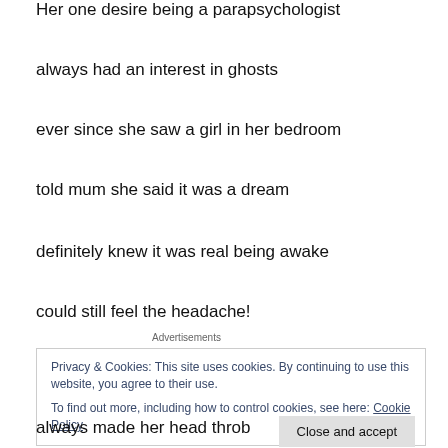Her one desire being a parapsychologist
always had an interest in ghosts
ever since she saw a girl in her bedroom
told mum she said it was a dream
definitely knew it was real being awake
could still feel the headache!
Advertisements
Privacy & Cookies: This site uses cookies. By continuing to use this website, you agree to their use.
To find out more, including how to control cookies, see here: Cookie Policy
always made her head throb